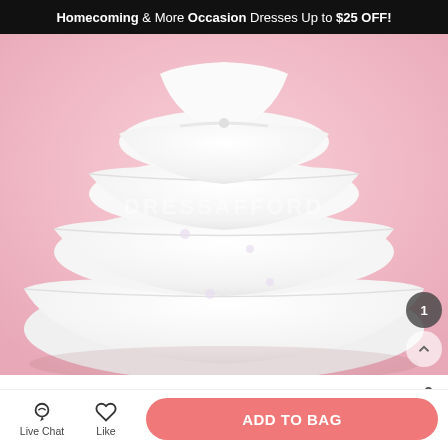Homecoming & More Occasion Dresses Up to $25 OFF!
[Figure (photo): White tiered organza flower girl dress with ruffled layers on pink background, watermarked DRESSAFFORD]
US$ 106.49  US$266.19  -60%
Organza Waist Floral A-Line Halter Flower Girl Dre...
Get $5 off for your first order!  CLAIM NOW
ITEM CODE#MK_400084
Live Chat   Like   ADD TO BAG